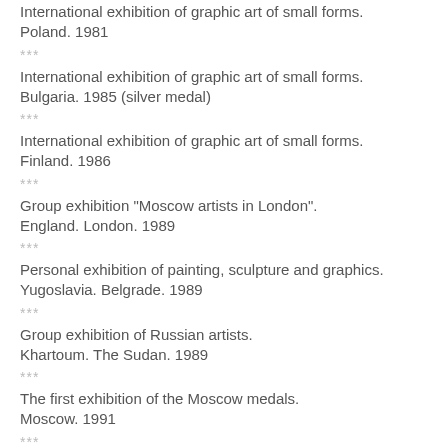International exhibition of graphic art of small forms. Poland. 1981
***
International exhibition of graphic art of small forms. Bulgaria. 1985 (silver medal)
***
International exhibition of graphic art of small forms. Finland. 1986
***
Group exhibition "Moscow artists in London". England. London. 1989
***
Personal exhibition of painting, sculpture and graphics. Yugoslavia. Belgrade. 1989
***
Group exhibition of Russian artists. Khartoum. The Sudan. 1989
***
The first exhibition of the Moscow medals. Moscow. 1991
***